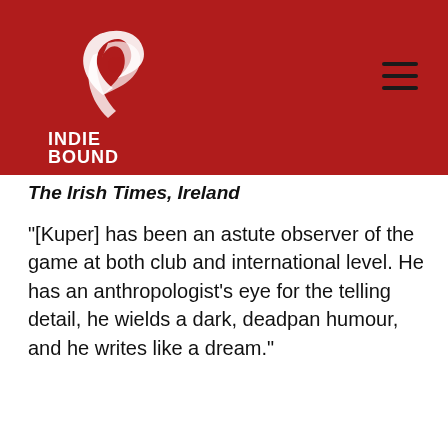[Figure (logo): IndieBound logo — white bird/feather graphic on dark red background with INDIEBOUND text below]
The Irish Times, Ireland
“[Kuper] has been an astute observer of the game at both club and international level. He has an anthropologist’s eye for the telling detail, he wields a dark, deadpan humour, and he writes like a dream.”
Irish Examiner
IndieBound.Org Uses Cookies To Enhance Your Experience On Our Site, Analyze Site Usage, And Assist In Our Marketing Efforts. By Clicking Accept, You Agree To The Storing Of Cookies On Your Device. View Our Cookie Policy.
Give me more info
Accept all Cookies